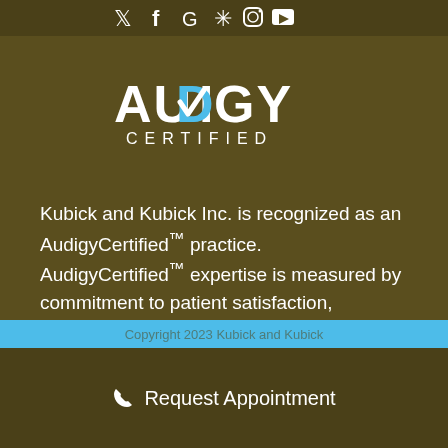Social media icons bar (Twitter, Facebook, Google, Snowflake/Yelp, Instagram, YouTube)
[Figure (logo): Audigy Certified logo: stylized text AUDIGY with a blue checkmark replacing the D, and CERTIFIED below in spaced letters]
Kubick and Kubick Inc. is recognized as an AudigyCertified™ practice. AudigyCertified™ expertise is measured by commitment to patient satisfaction, continuing education, and the expert application of current technology.
Copyright 2023 Kubick and Kubick
☎ Request Appointment